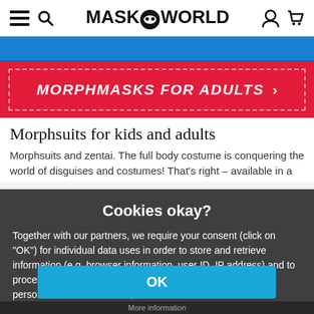MASK WORLD (logo with mask icon)
[Figure (screenshot): Blue banner strip]
[Figure (screenshot): Red promotional banner with dashed border reading MORPHMASKS FOR ADULTS >]
Morphsuits for kids and adults
Morphsuits and zentai. The full body costume is conquering the world of disguises and costumes! That's right – available in a
Cookies okay?
Together with our partners, we require your consent (click on "OK") for individual data uses in order to store and retrieve information (e.g. browser information, user ID, IP address) and to process it or have it processed. The data usage is for personalised functionalities, content and ads
OK